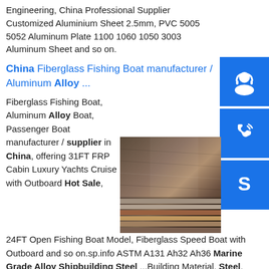Engineering, China Professional Supplier Customized Aluminium Sheet 2.5mm, PVC 5005 5052 Aluminum Plate 1100 1060 1050 3003 Aluminum Sheet and so on.
China Fiberglass Fishing Boat manufacturer / supplier Aluminum Alloy ...
Fiberglass Fishing Boat, Aluminum Alloy Boat, Passenger Boat manufacturer / supplier in China, offering 31FT FRP Cabin Luxury Yachts Cruise with Outboard Hot Sale, 24FT Open Fishing Boat Model, Fiberglass Speed Boat with Outboard and so on.sp.info ASTM A131 Ah32 Ah36 Marine Grade Alloy Shipbuilding Steel ...Building Material, Steel, Steel Plate manufacturer / supplier in China, offering ASTM A131 Ah32 Ah36 Marine Grade Alloy Shipbuilding Steel Plate, Chromium Carbide Wear Resistant Hard Facing Steel Plate with low Price, A 450...
[Figure (photo): Stacked metal/steel plates photographed from an angle showing the layered edges, brownish-gray rustic tones.]
[Figure (illustration): Blue square icon with white headset/customer service symbol.]
[Figure (illustration): Blue square icon with white phone/call symbol.]
[Figure (illustration): Blue square icon with white Skype symbol (S).]